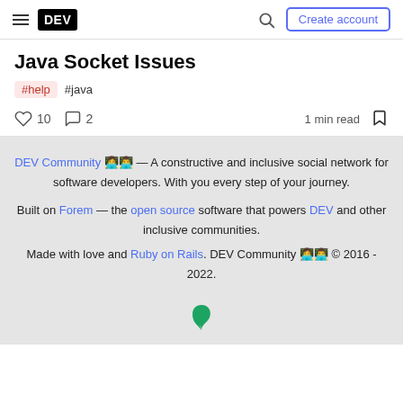DEV — Create account
Java Socket Issues
#help #java
10 likes  2 comments  1 min read
DEV Community 👩‍💻👨‍💻 — A constructive and inclusive social network for software developers. With you every step of your journey.

Built on Forem — the open source software that powers DEV and other inclusive communities.
Made with love and Ruby on Rails. DEV Community 👩‍💻👨‍💻 © 2016 - 2022.